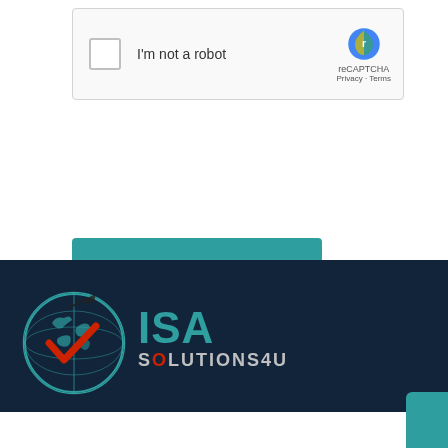[Figure (screenshot): reCAPTCHA checkbox widget with 'I'm not a robot' text and reCAPTCHA logo, Privacy and Terms links]
[Figure (screenshot): Teal 'Send Message' button with right arrow icon]
[Figure (screenshot): Teal vertical 'ENQUIRY NOW' tab on right side]
[Figure (logo): Visa Solutions 4U logo with globe graphic showing teal/red checkmark, on dark navy background]
[Figure (screenshot): Teal circular up-arrow button]
[Figure (screenshot): Blue 'CALL NOW' bar at the bottom]